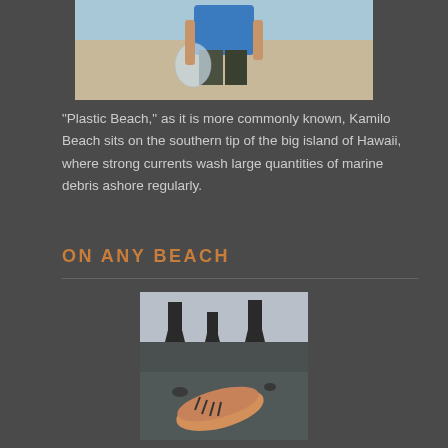[Figure (photo): Photo of a person in a blue shirt carrying a plastic bag on a sandy beach]
"Plastic Beach," as it is more commonly known, Kamilo Beach sits on the southern tip of the big island of Hawaii, where strong currents wash large quantities of marine debris ashore regularly.
ON ANY BEACH
[Figure (photo): Photo of a beach with dark rock formations in the background and a washed-up shoe or piece of marine debris in the foreground on dark sand]